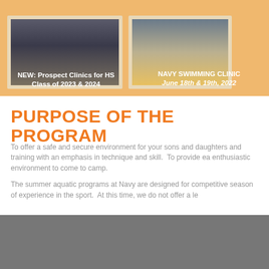[Figure (photo): Photo of students at a swimming pool, viewed from behind, at a swim clinic]
[Figure (photo): Photo of a swimmer on a starting block at a Navy swimming clinic]
NEW: Prospect Clinics for HS Class of 2023 & 2024
NAVY SWIMMING CLINIC June 18th & 19th, 2022
PURPOSE OF THE PROGRAM
To offer a safe and secure environment for your sons and daughters and training with an emphasis in technique and skill.  To provide ea enthusiastic environment to come to camp.
The summer aquatic programs at Navy are designed for competitive season of experience in the sport.  At this time, we do not offer a le